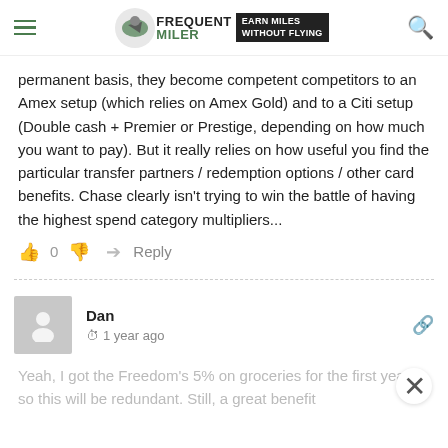Frequent Miler — Earn Miles Without Flying
permanent basis, they become competent competitors to an Amex setup (which relies on Amex Gold) and to a Citi setup (Double cash + Premier or Prestige, depending on how much you want to pay). But it really relies on how useful you find the particular transfer partners / redemption options / other card benefits. Chase clearly isn't trying to win the battle of having the highest spend category multipliers...
👍 0 👎  Reply
Dan  1 year ago
Yeah, I got the Freedom's 5% on groceries for the first year, so this will be redundant. Still, a great benefit